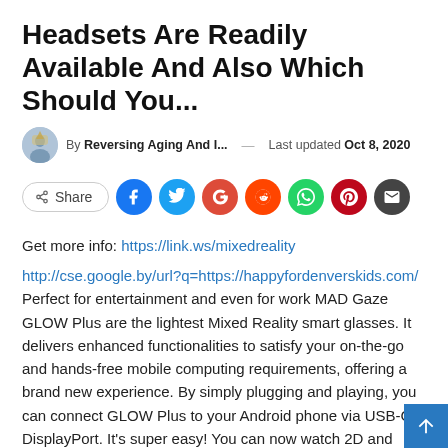Headsets Are Readily Available And Also Which Should You...
By Reversing Aging And I... — Last updated Oct 8, 2020
[Figure (infographic): Social share buttons row: Share button outline, followed by circular social icons for Facebook, Twitter, Google+, Reddit, WhatsApp, Pinterest, and Email]
Get more info: https://link.ws/mixedreality
http://cse.google.by/url?q=https://happyfordenverskids.com/
Perfect for entertainment and even for work MAD Gaze GLOW Plus are the lightest Mixed Reality smart glasses. It delivers enhanced functionalities to satisfy your on-the-go and hands-free mobile computing requirements, offering a brand new experience. By simply plugging and playing, you can connect GLOW Plus to your Android phone via USB-C DisplayPort. It's super easy! You can now watch 2D and even 3D contents in